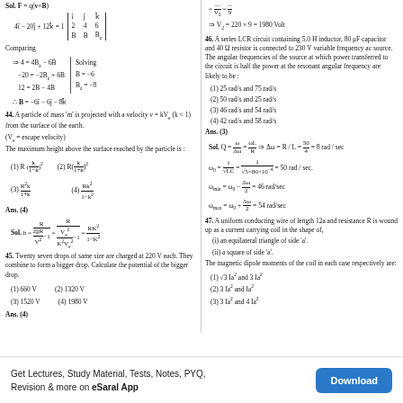Sol. F = q(v×B)
Comparing
44. A particle of mass 'm' is projected with a velocity v = kV_e (k < 1) from the surface of the earth. (V_e = escape velocity) The maximum height above the surface reached by the particle is :
(1) R(k/(1-k))^2
(2) R(k/(1+k))^2
(3) R^2k/(1+k)
(4) Rk^2/(1-k^2)
Ans. (4)
45. Twenty seven drops of same size are charged at 220 V each. They combine to form a bigger drop. Calculate the potential of the bigger drop.
(1) 660 V
(2) 1320 V
(3) 1520 V
(4) 1980 V
Ans. (4)
46. A series LCR circuit containing 5.0 H inductor, 80 μF capacitor and 40 Ω resistor is connected to 230 V variable frequency ac source. The angular frequencies of the source at which power transferred to the circuit is half the power at the resonant angular frequency are likely to be :
(1) 25 rad/s and 75 rad/s
(2) 50 rad/s and 25 rad/s
(3) 46 rad/s and 54 rad/s
(4) 42 rad/s and 58 rad/s
Ans. (3)
47. A uniform conducting wire of length 12a and resistance R is wound up as a current carrying coil in the shape of,
(i) an equilateral triangle of side 'a'.
(ii) a square of side 'a'.
The magnetic dipole moments of the coil in each case respectively are:
(1) √3 Ia² and 3 Ia²
(2) 3 Ia² and Ia²
(3) 3 Ia² and 4 Ia²
Get Lectures, Study Material, Tests, Notes, PYQ, Revision & more on eSaral App   Download